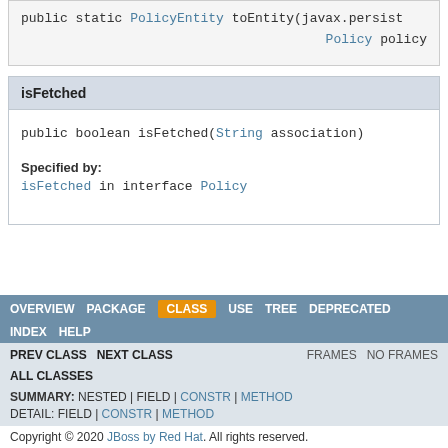public static PolicyEntity toEntity(javax.persist... Policy policy
isFetched
public boolean isFetched(String association)
Specified by:
isFetched in interface Policy
OVERVIEW   PACKAGE   CLASS   USE   TREE   DEPRECATED   INDEX   HELP   PREV CLASS   NEXT CLASS   FRAMES   NO FRAMES   ALL CLASSES   SUMMARY: NESTED | FIELD | CONSTR | METHOD   DETAIL: FIELD | CONSTR | METHOD   Copyright © 2020 JBoss by Red Hat. All rights reserved.